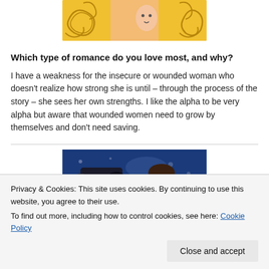[Figure (illustration): Decorative book cover image with golden swirl patterns on yellow/orange background]
Which type of romance do you love most, and why?
I have a weakness for the insecure or wounded woman who doesn't realize how strong she is until – through the process of the story – she sees her own strengths. I like the alpha to be very alpha but aware that wounded women need to grow by themselves and don't need saving.
[Figure (photo): Photo showing a person with a camera/film equipment against a blue background]
Privacy & Cookies: This site uses cookies. By continuing to use this website, you agree to their use.
To find out more, including how to control cookies, see here: Cookie Policy